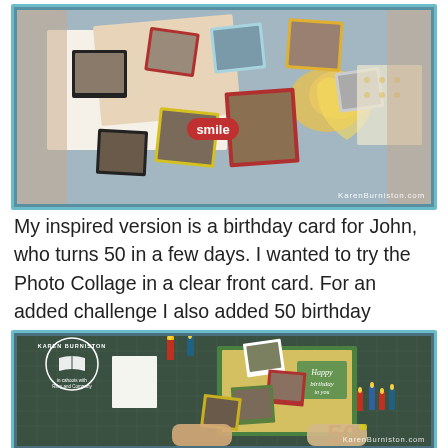[Figure (photo): Photo showing a crafted birthday card open on a table with multiple small Polaroid-style photo collages, heart cutouts, and decorative scrapbook elements in red, yellow, and teal colors. Watermark reads 'KARENBURNISTON.COM'.]
My inspired version is a birthday card for John, who turns 50 in a few days. I wanted to try the Photo Collage in a clear front card. For an added challenge I also added 50 birthday candles.
[Figure (photo): Photo showing an exploding birthday card with Karen Burniston logo/branding, multiple small photos fanning out, birthday candles, 'Happy Birthday to you' text, and a '50' numeral, held open by a person's hands. Watermark reads 'KARENBURNISTON.COM'.]